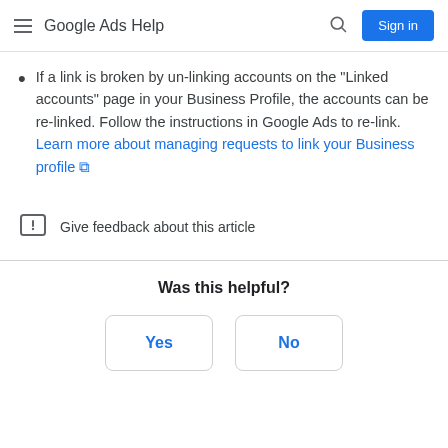Google Ads Help
If a link is broken by un-linking accounts on the "Linked accounts" page in your Business Profile, the accounts can be re-linked. Follow the instructions in Google Ads to re-link. Learn more about managing requests to link your Business profile
Give feedback about this article
Was this helpful?
Yes
No